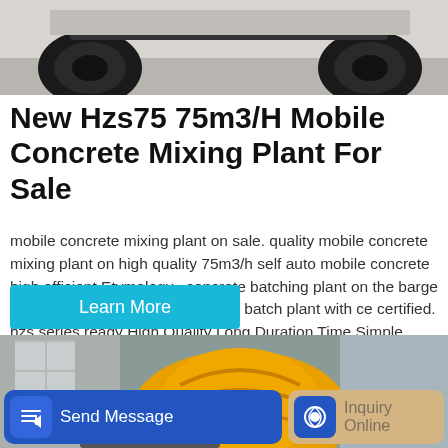[Figure (photo): Top portion showing underside of a vehicle/truck with large black tires on a grey surface]
New Hzs75 75m3/H Mobile Concrete Mixing Plant For Sale
mobile concrete mixing plant on sale. quality mobile concrete mixing plant on high quality 75m3/h self auto mobile concrete high efficient Etymology · concrete batching plant on the barge hotel. best quality hzs75 concrete batch plant with ce certified. hzs series ready High Quality Long Duration Time Simple Concrete.
[Figure (photo): Yellow concrete mixer drum inside an industrial warehouse/factory building]
Learn More
Send Message
Inquiry Online